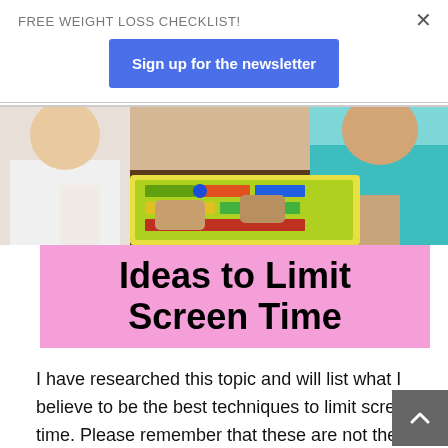FREE WEIGHT LOSS CHECKLIST!
Sign up for the newsletter
[Figure (photo): Children sitting at a table playing a board game with colorful pieces]
Ideas to Limit Screen Time
I have researched this topic and will list what I believe to be the best techniques to limit screen time. Please remember that these are not the only options, but ones that I believe are the best